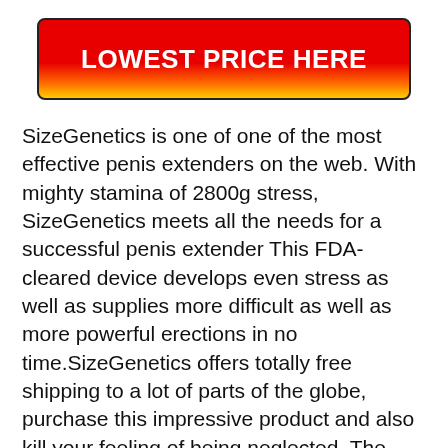[Figure (other): Red to orange/yellow gradient button banner with bold white text reading LOWEST PRICE HERE]
SizeGenetics is one of one of the most effective penis extenders on the web. With mighty stamina of 2800g stress, SizeGenetics meets all the needs for a successful penis extender This FDA-cleared device develops even stress as well as supplies more difficult as well as more powerful erections in no time.SizeGenetics offers totally free shipping to a lot of parts of the globe, purchase this impressive product and also kill your feeling of being neglected. The cost of this extender starts at an inexpensive price of $200 and also can rise to $300 for the premium package.